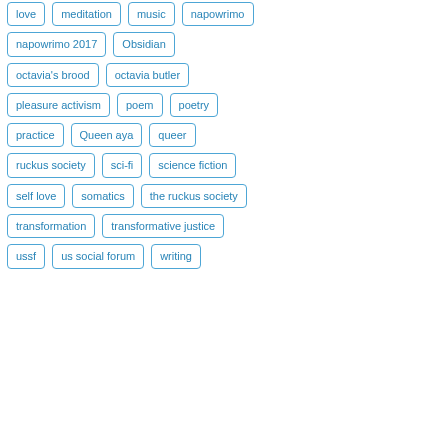love
meditation
music
napowrimo
napowrimo 2017
Obsidian
octavia's brood
octavia butler
pleasure activism
poem
poetry
practice
Queen aya
queer
ruckus society
sci-fi
science fiction
self love
somatics
the ruckus society
transformation
transformative justice
ussf
us social forum
writing